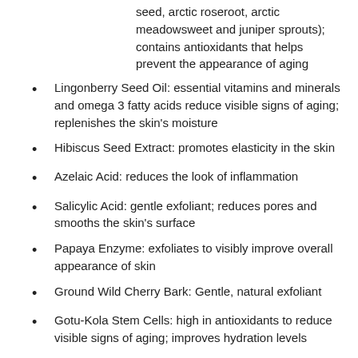seed, arctic roseroot, arctic meadowsweet and juniper sprouts); contains antioxidants that helps prevent the appearance of aging
Lingonberry Seed Oil: essential vitamins and minerals and omega 3 fatty acids reduce visible signs of aging; replenishes the skin's moisture
Hibiscus Seed Extract: promotes elasticity in the skin
Azelaic Acid: reduces the look of inflammation
Salicylic Acid: gentle exfoliant; reduces pores and smooths the skin's surface
Papaya Enzyme: exfoliates to visibly improve overall appearance of skin
Ground Wild Cherry Bark: Gentle, natural exfoliant
Gotu-Kola Stem Cells: high in antioxidants to reduce visible signs of aging; improves hydration levels
Step 2 - Arctic Berry Advanced Peel Activator MA10
Arctic Plants & Berries: a blend of four plants (cloudberry